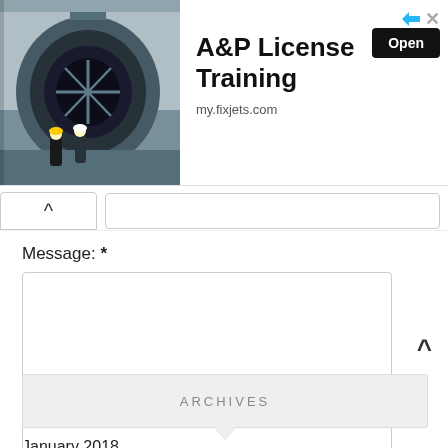[Figure (photo): Advertisement banner showing jet aircraft engine with two workers in front, for A&P License Training at my.fixjets.com]
A&P License Training
my.fixjets.com
Open
Message: *
Submit
ARCHIVES
January 2018